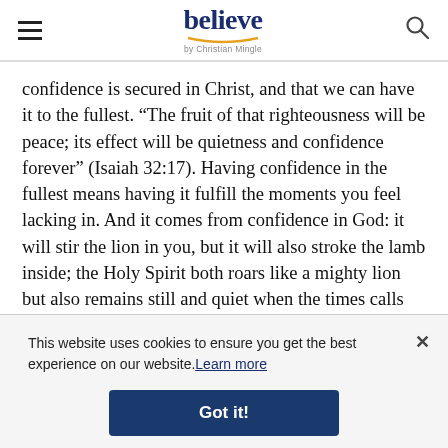believe by Christian Mingle
confidence is secured in Christ, and that we can have it to the fullest. “The fruit of that righteousness will be peace; its effect will be quietness and confidence forever” (Isaiah 32:17). Having confidence in the fullest means having it fulfill the moments you feel lacking in. And it comes from confidence in God: it will stir the lion in you, but it will also stroke the lamb inside; the Holy Spirit both roars like a mighty lion but also remains still and quiet when the times calls for it, like when He’s trying to speak to you and guide you into the person He’s made you to be.
This website uses cookies to ensure you get the best experience on our website. Learn more
Got it!